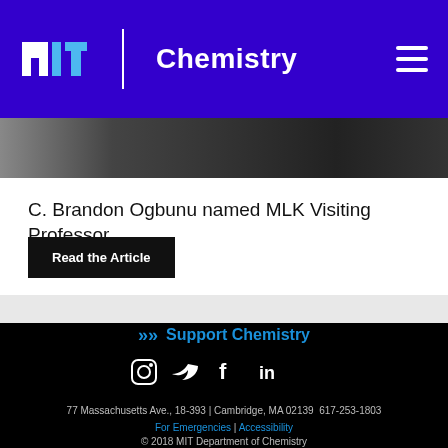MIT Chemistry
[Figure (photo): Photo strip of people, partially visible]
C. Brandon Ogbunu named MLK Visiting Professor
Read the Article
Support Chemistry
[Figure (other): Social media icons: Instagram, Twitter, Facebook, LinkedIn]
77 Massachusetts Ave., 18-393 | Cambridge, MA 02139  617-253-1803
For Emergencies | Accessibility
© 2018 MIT Department of Chemistry